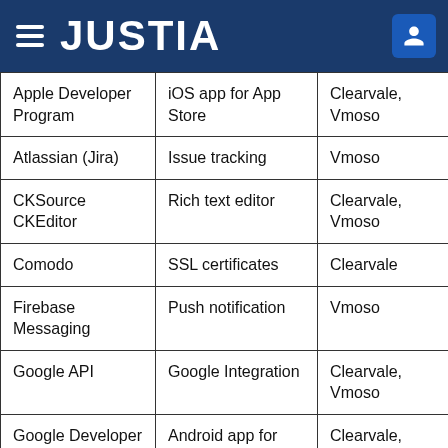JUSTIA
| Apple Developer Program | iOS app for App Store | Clearvale, Vmoso |
| Atlassian (Jira) | Issue tracking | Vmoso |
| CKSource CKEditor | Rich text editor | Clearvale, Vmoso |
| Comodo | SSL certificates | Clearvale |
| Firebase Messaging | Push notification | Vmoso |
| Google API | Google Integration | Clearvale, Vmoso |
| Google Developer Program | Android app for Google Market | Clearvale, Vmoso |